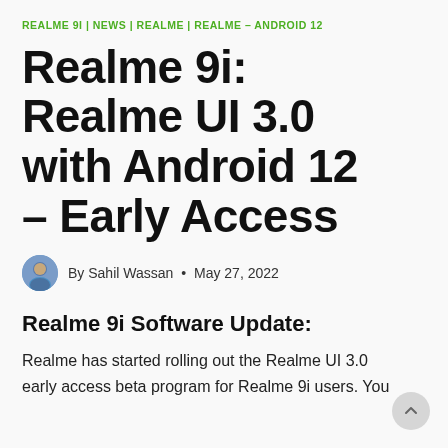REALME 9I | NEWS | REALME | REALME – ANDROID 12
Realme 9i: Realme UI 3.0 with Android 12 – Early Access
By Sahil Wassan • May 27, 2022
Realme 9i Software Update:
Realme has started rolling out the Realme UI 3.0 early access beta program for Realme 9i users. You